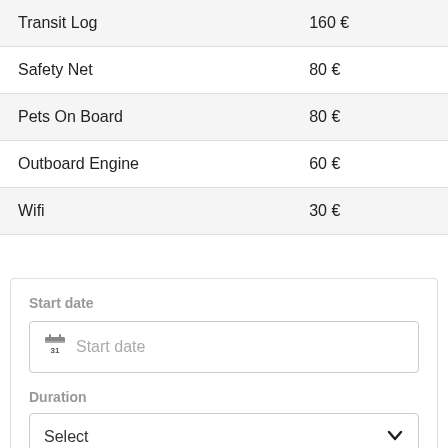| Item | Price |
| --- | --- |
| Transit Log | 160 € |
| Safety Net | 80 € |
| Pets On Board | 80 € |
| Outboard Engine | 60 € |
| Wifi | 30 € |
Start date
Start date
Duration
Select